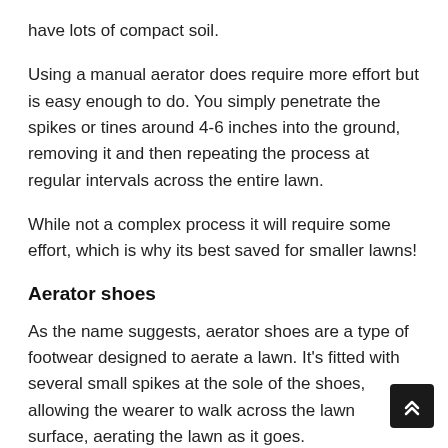have lots of compact soil.
Using a manual aerator does require more effort but is easy enough to do. You simply penetrate the spikes or tines around 4-6 inches into the ground, removing it and then repeating the process at regular intervals across the entire lawn.
While not a complex process it will require some effort, which is why its best saved for smaller lawns!
Aerator shoes
As the name suggests, aerator shoes are a type of footwear designed to aerate a lawn. It's fitted with several small spikes at the sole of the shoes, allowing the wearer to walk across the lawn surface, aerating the lawn as it goes.
Most shoes are simply an attached strip of spikes